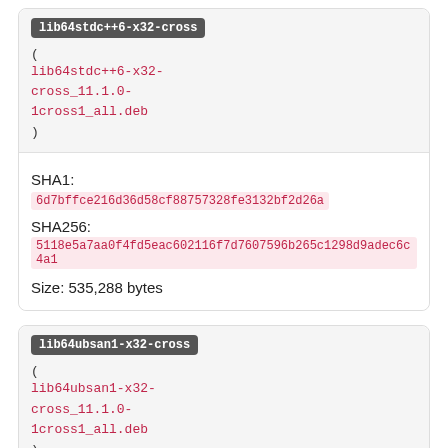lib64stdc++6-x32-cross
( lib64stdc++6-x32-cross_11.1.0-1cross1_all.deb )
SHA1: 6d7bffce216d36d58cf88757328fe3132bf2d26a
SHA256: 5118e5a7aa0f4fd5eac602116f7d7607596b265c1298d9adec6c4a1
Size: 535,288 bytes
lib64ubsan1-x32-cross
( lib64ubsan1-x32-cross_11.1.0-1cross1_all.deb )
SHA1: 01fc182f84608411aab99cd58c82955707abbc7e
SHA256: